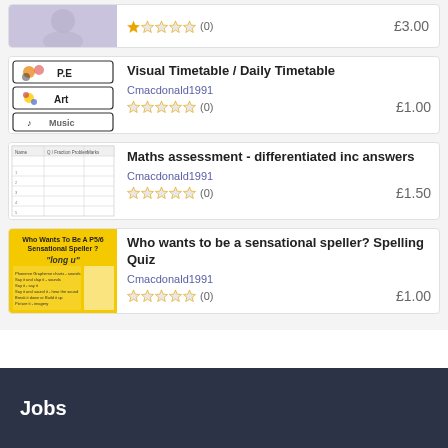[Figure (screenshot): Top card thumbnail - purple/lavender background with faint figure illustration]
(0)
£3.00
[Figure (screenshot): P.E., Art, Music visual timetable card thumbnail]
Visual Timetable / Daily Timetable
Cmacdonald1991
(0)
£1.00
[Figure (screenshot): Maths assessment worksheet thumbnail showing a grid/table]
Maths assessment - differentiated inc answers
Cmacdonald1991
(0)
£1.50
[Figure (screenshot): Yellow background spelling quiz card - Who Wants To Be A P5/6 Sensational Speller? long u]
Who wants to be a sensational speller? Spelling Quiz
Cmacdonald1991
(0)
£1.00
Jobs